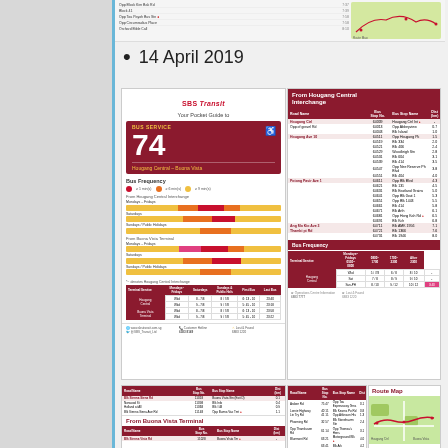14 April 2019
[Figure (infographic): SBS Transit Bus Service 74 Pocket Guide showing route from Hougang Central to Buona Vista, including bus frequency charts, stop listings, and route map]
From Hougang Central Interchange stop listings with bus stop names, numbers, and distances
[Figure (infographic): From Buona Vista Terminal stop listings and route map section]
[Figure (map): Route Map showing Bus Service 74 path]